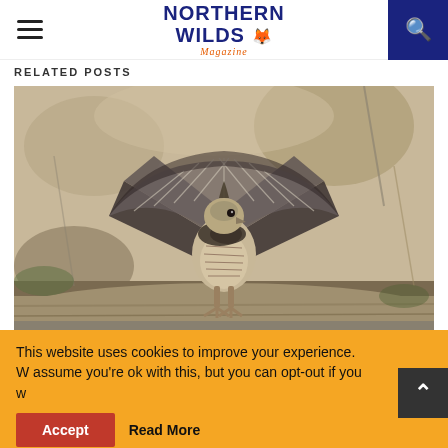Northern Wilds Magazine
RELATED POSTS
[Figure (photo): A ruffed grouse bird standing on a log with its tail fanned out, photographed in a natural woodland setting with blurred brown background]
Partridge Were Worth the Walk
This website uses cookies to improve your experience. We'll assume you're ok with this, but you can opt-out if you wish.
Accept  Read More